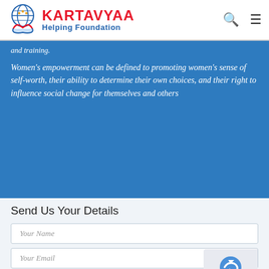KARTAVYAA Helping Foundation
and training.
Women's empowerment can be defined to promoting women's sense of self-worth, their ability to determine their own choices, and their right to influence social change for themselves and others
Send Us Your Details
Your Name
Your Email
Your Mobile
Your Message